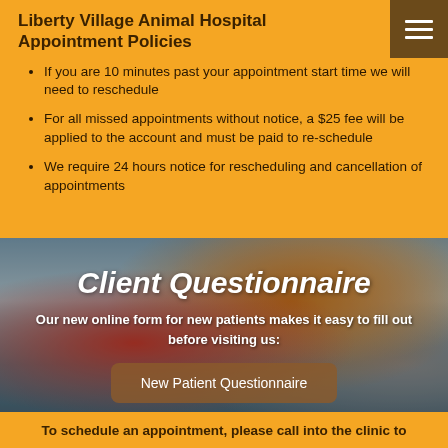Liberty Village Animal Hospital Appointment Policies
If you are 10 minutes past your appointment start time we will need to reschedule
For all missed appointments without notice, a $25 fee will be applied to the account and must be paid to re-schedule
We require 24 hours notice for rescheduling and cancellation of appointments
[Figure (photo): Person in red shirt holding a golden/brown fluffy dog, sitting at a desk with keyboard visible]
Client Questionnaire
Our new online form for new patients makes it easy to fill out before visiting us:
New Patient Questionnaire
To schedule an appointment, please call into the clinic to